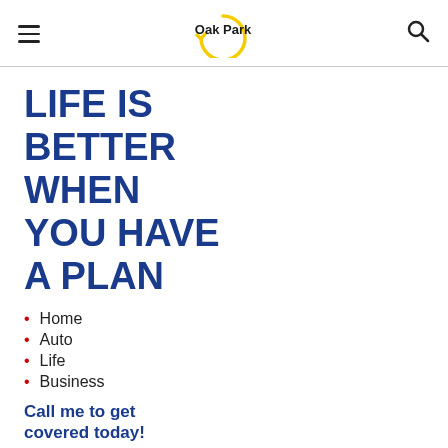Oak Park
LIFE IS BETTER WHEN YOU HAVE A PLAN
Home
Auto
Life
Business
Call me to get covered today!
773.572.0291
Elliott Greenhill